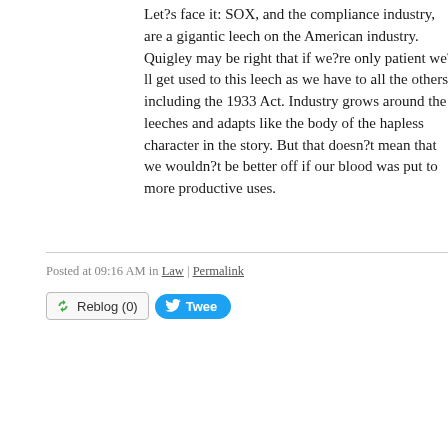Let?s face it: SOX, and the compliance industry, are a gigantic leech on the American industry. Quigley may be right that if we?re only patient we?ll get used to this leech as we have to all the others, including the 1933 Act. Industry grows around the leeches and adapts like the body of the hapless character in the story. But that doesn?t mean that we wouldn?t be better off if our blood was put to more productive uses.
Posted at 09:16 AM in Law | Permalink
[Figure (other): Reblog (0) button and Tweet button]